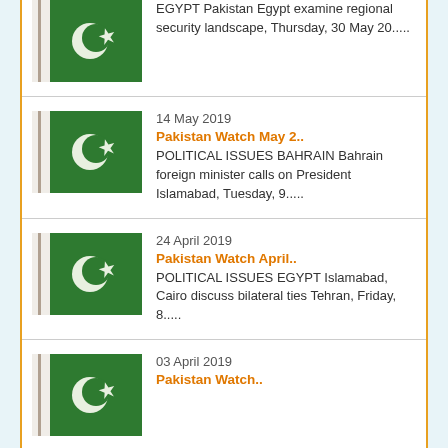EGYPT Pakistan Egypt examine regional security landscape, Thursday, 30 May 20.....
14 May 2019
Pakistan Watch May 2..
POLITICAL ISSUES BAHRAIN Bahrain foreign minister calls on President Islamabad, Tuesday, 9.....
24 April 2019
Pakistan Watch April..
POLITICAL ISSUES EGYPT Islamabad, Cairo discuss bilateral ties Tehran, Friday, 8.....
03 April 2019
Pakistan Watch..